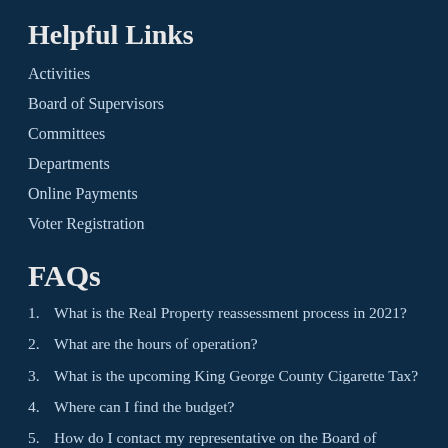Helpful Links
Activities
Board of Supervisors
Committees
Departments
Online Payments
Voter Registration
FAQs
1. What is the Real Property reassessment process in 2021?
2. What are the hours of operation?
3. What is the upcoming King George County Cigarette Tax?
4. Where can I find the budget?
5. How do I contact my representative on the Board of Supervisors?